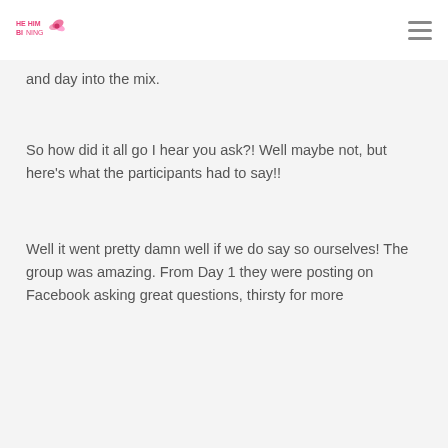[logo] [hamburger menu]
and day into the mix.
So how did it all go I hear you ask?! Well maybe not, but here’s what the participants had to say!!
Well it went pretty damn well if we do say so ourselves!  The group was amazing. From Day 1 they were posting on Facebook asking great questions, thirsty for more